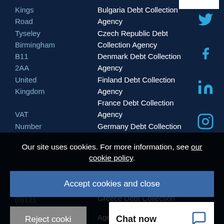Kings
Road
Tyseley
Birmingham
B11
2AA
United
Kingdom
VAT
Number
Bulgaria Debt Collection Agency
Czech Republic Debt Collection Agency
Denmark Debt Collection Agency
Finland Debt Collection Agency
France Debt Collection Agency
Germany Debt Collection Agency
Greece Debt Collection Agency
Tel +44 (0)121 442
5930
Fax +44
Our site uses cookies. For more information, see our cookie policy.
Accept cookies and close
Reject cookies
Chat now